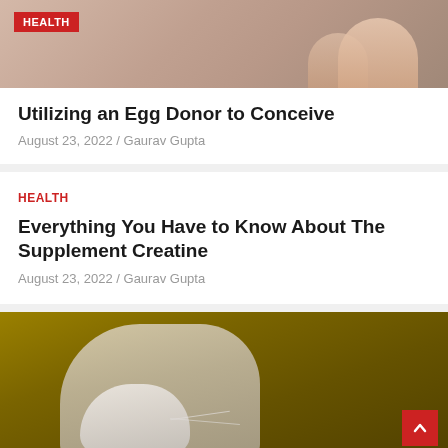[Figure (photo): Close-up of hands/fingers, with a red HEALTH tag badge in the upper left corner]
Utilizing an Egg Donor to Conceive
August 23, 2022 / Gaurav Gupta
HEALTH
Everything You Have to Know About The Supplement Creatine
August 23, 2022 / Gaurav Gupta
[Figure (photo): A hand holding a small mouse/rat against a dark yellow/golden background, with a red scroll-to-top button in the bottom right corner]